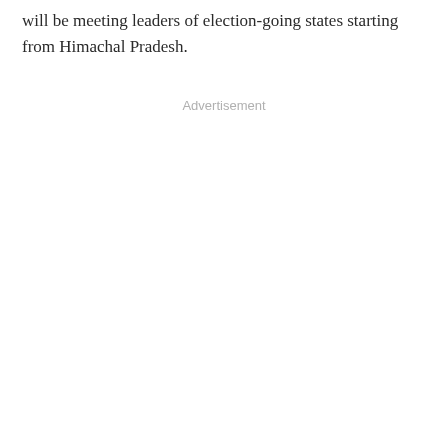will be meeting leaders of election-going states starting from Himachal Pradesh.
Advertisement